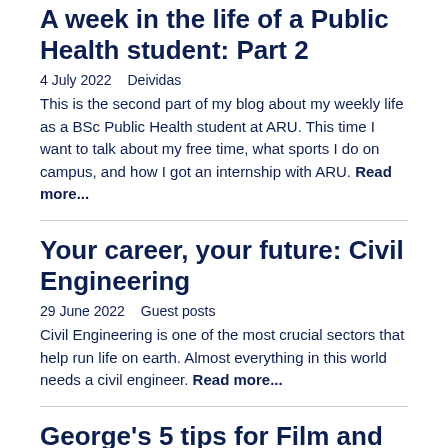A week in the life of a Public Health student: Part 2
4 July 2022   Deividas
This is the second part of my blog about my weekly life as a BSc Public Health student at ARU. This time I want to talk about my free time, what sports I do on campus, and how I got an internship with ARU. Read more...
Your career, your future: Civil Engineering
29 June 2022   Guest posts
Civil Engineering is one of the most crucial sectors that help run life on earth. Almost everything in this world needs a civil engineer. Read more...
George's 5 tips for Film and TV